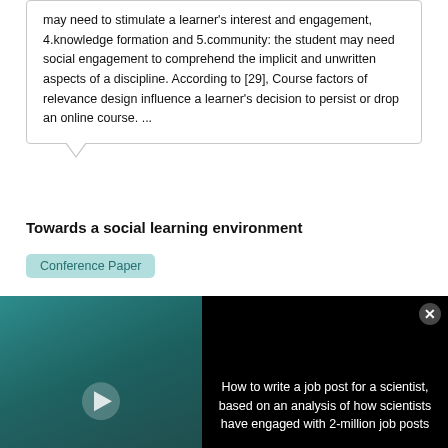may need to stimulate a learner's interest and engagement, 4.knowledge formation and 5.community: the student may need social engagement to comprehend the implicit and unwritten aspects of a discipline. According to [29], Course factors of relevance design influence a learner's decision to persist or drop an online course. ...
Towards a social learning environment
Conference Paper
Dec 2019
[Figure (photo): Video advertisement overlay showing a person in an office setting with text 'HOW TO WRITE A JOB POST FOR A SCIENTIST' and a play button, alongside text panel reading 'How to write a job post for a scientist, based on an analysis of how scientists have engaged with 2-million job posts' with a close button]
... In the early transition of education to technology, several digital tools were available in the education
[Figure (photo): ThermoFisher Scientific banner advertisement: 'WE CAN HELP YOU TEST YOUR CELL CULTURE KNOWLEDGE?' with product imagery]
Advertisement